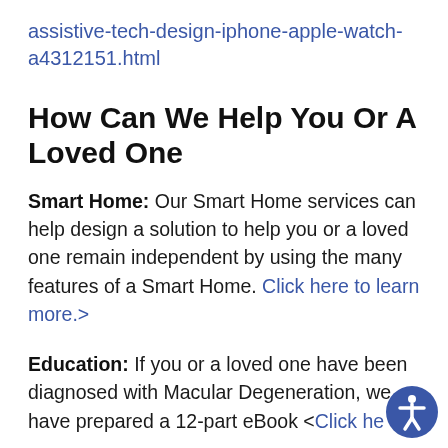assistive-tech-design-iphone-apple-watch-a4312151.html
How Can We Help You Or A Loved One
Smart Home: Our Smart Home services can help design a solution to help you or a loved one remain independent by using the many features of a Smart Home. <Click here to learn more.>
Education: If you or a loved one have been diagnosed with Macular Degeneration, we have prepared a 12-part eBook <Click here>